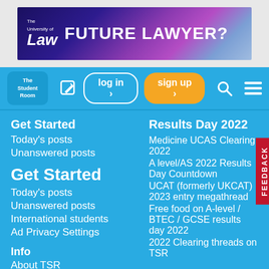[Figure (illustration): The University of Law advertisement banner with text FUTURE LAWYER? on a dark purple and blue gradient background with logo]
The Student Room — log in > sign up >
Get Started
Today's posts
Unanswered posts
Get Started
Today's posts
Unanswered posts
International students
Ad Privacy Settings
Info
About TSR
Advertise
Contact Us
TSR Group
Results Day 2022
Medicine UCAS Clearing 2022
A level/AS 2022 Results Day Countdown
UCAT (formerly UKCAT) 2023 entry megathread
Free food on A-level / BTEC / GCSE results day 2022
2022 Clearing threads on TSR
Connect with TSR
Twitter
Facebook
YouTube